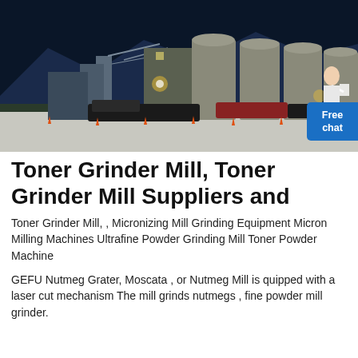[Figure (photo): Industrial facility at night with large cylindrical silos, machinery, and trucks. Mountains visible in background. Dark blue night sky. Orange traffic cones in foreground. A woman figure on right side with 'Free chat' button overlay.]
Toner Grinder Mill, Toner Grinder Mill Suppliers and
Toner Grinder Mill, , Micronizing Mill Grinding Equipment Micron Milling Machines Ultrafine Powder Grinding Mill Toner Powder Machine
GEFU Nutmeg Grater, Moscata , or Nutmeg Mill is quipped with a laser cut mechanism The mill grinds nutmegs , fine powder mill grinder.